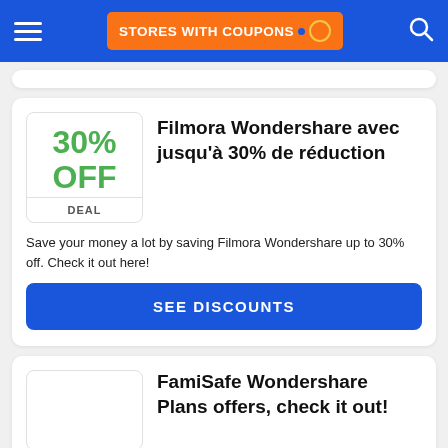STORES WITH COUPONS
Filmora Wondershare avec jusqu'à 30% de réduction
Save your money a lot by saving Filmora Wondershare up to 30% off. Check it out here!
SEE DISCOUNTS
FamiSafe Wondershare Plans offers, check it out!